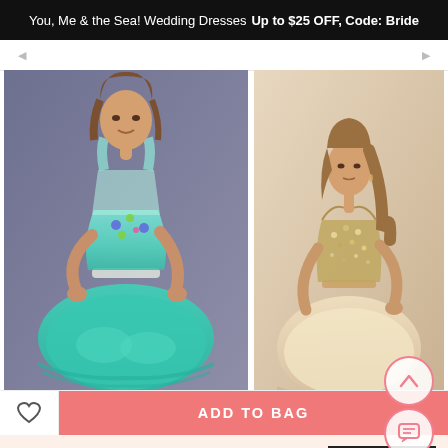You, Me & the Sea! Wedding Dresses Up to $25 OFF, Code: Bride
[Figure (photo): Model wearing a short turquoise/mint tulle dress with floral embellished bodice, standing against gray background]
[Figure (photo): Model wearing a short champagne/nude tulle dress with jeweled sweetheart bodice]
× Get $5 off for your first order!
CLAIM NOW
ADD TO BAG